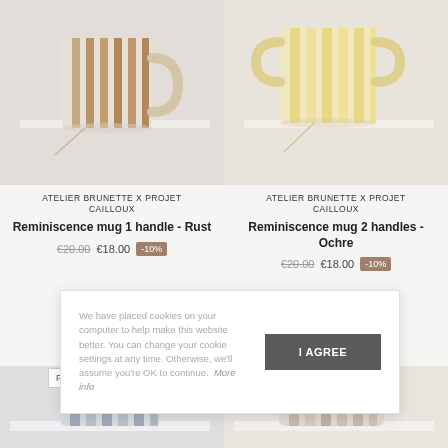[Figure (photo): Ceramic mug with rust/brown stripe pattern on a white surface - Reminiscence mug 1 handle Rust]
[Figure (photo): Ceramic mug with yellow/ochre stripe pattern on a white surface - Reminiscence mug 2 handles Ochre]
ATELIER BRUNETTE x PROJET CAILLOUX
Reminiscence mug 1 handle - Rust
€20.00  €18.00  -10%
ATELIER BRUNETTE x PROJET CAILLOUX
Reminiscence mug 2 handles - Ochre
€20.00  €18.00  -10%
We have placed cookies on your computer to help make this website better. You can change your cookie settings at any time. Otherwise, we'll assume you're OK to continue.  More info
[Figure (photo): Bottom partial view of ceramic mug with blue/grey stripe pattern]
[Figure (photo): Bottom partial view of ceramic mug with neutral/beige stripe pattern]